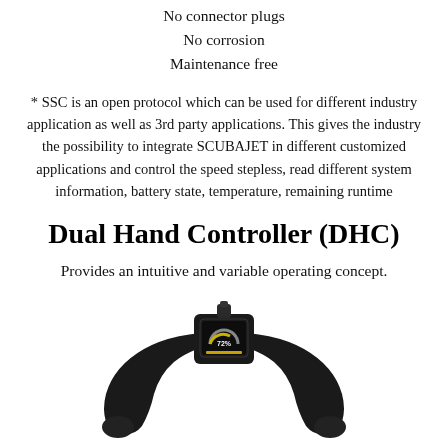No connector plugs
No corrosion
Maintenance free
* SSC is an open protocol which can be used for different industry application as well as 3rd party applications. This gives the industry the possibility to integrate SCUBAJET in different customized applications and control the speed stepless, read different system information, battery state, temperature, remaining runtime
Dual Hand Controller (DHC)
Provides an intuitive and variable operating concept.
[Figure (photo): Photo of the Dual Hand Controller (DHC) device — a U-shaped black handle with a digital display screen in the center showing battery and speed information, with two ergonomic grip handles on each side.]